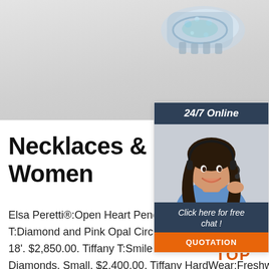[Figure (photo): Top area with light gray background and silver/crystal jewelry charm partially visible at the top right]
Necklaces & Pendants Women
[Figure (infographic): Sidebar widget showing '24/7 Online' header, a photo of a smiling woman with headset, 'Click here for free chat!' text, and an orange QUOTATION button]
Elsa Peretti®:Open Heart Pendant in Ye mm. $525.00. Tiffany T:Diamond and Pink Opal Circle Pendant in 18k Rose Gold, 16-18'. $2,850.00. Tiffany T:Smile Pendant in Rose Gold with Diamonds, Small. $2,400.00. Tiffany HardWear:Freshwater Pearl Necklace in Sterling
[Figure (logo): TOP logo in orange/red at lower right corner]